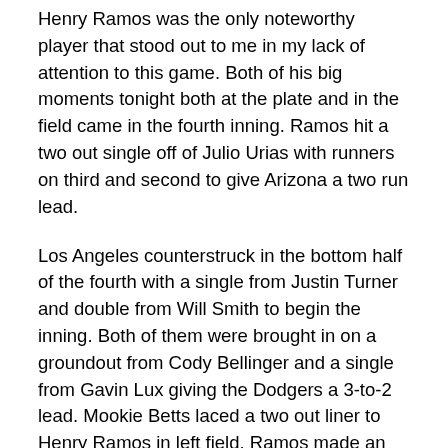Henry Ramos was the only noteworthy player that stood out to me in my lack of attention to this game. Both of his big moments tonight both at the plate and in the field came in the fourth inning. Ramos hit a two out single off of Julio Urias with runners on third and second to give Arizona a two run lead.
Los Angeles counterstruck in the bottom half of the fourth with a single from Justin Turner and double from Will Smith to begin the inning. Both of them were brought in on a groundout from Cody Bellinger and a single from Gavin Lux giving the Dodgers a 3-to-2 lead. Mookie Betts laced a two out liner to Henry Ramos in left field. Ramos made an impressive highlight reel catch, tracking the ball down at the warning track, crashing into the wall while containing the ball in his glove for the final out of the inning.